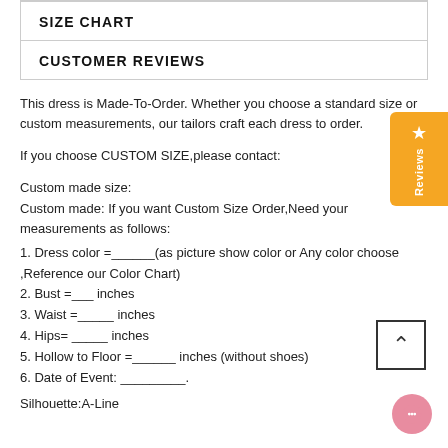SIZE CHART
CUSTOMER REVIEWS
This dress is Made-To-Order. Whether you choose a standard size or custom measurements, our tailors craft each dress to order.
If you choose CUSTOM SIZE,please contact:
Custom made size:
Custom made: If you want Custom Size Order,Need your measurements as follows:
1. Dress color =______(as picture show color or Any color choose ,Reference our Color Chart)
2. Bust =___ inches
3. Waist =_____ inches
4. Hips= _____ inches
5. Hollow to Floor =______ inches (without shoes)
6. Date of Event: _________.
Silhouette:A-Line